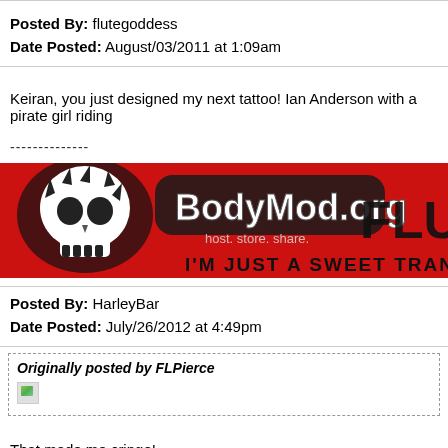Posted By: flutegoddess
Date Posted: August/03/2011 at 1:09am
Keiran, you just designed my next tattoo! Ian Anderson with a pirate girl riding
[Figure (illustration): BodyMod.org banner image with skull graphic on red background, text 'BodyMod.org', 'host. store. share.', and 'I'M JUST A SWEET TRANSVESTITE,' and 'FLUT' text on right side]
Posted By: HarleyBar
Date Posted: July/26/2012 at 4:49pm
Originally posted by FLPierce
That made me cringe!